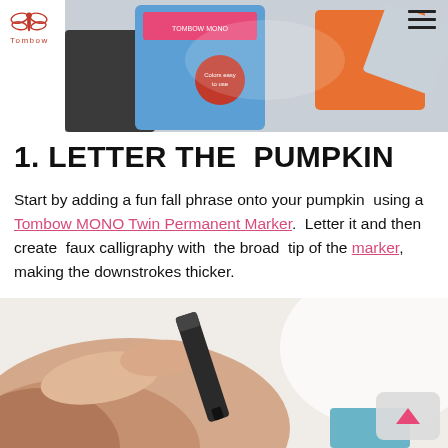Tombow
[Figure (photo): Photo of Tombow product packaging including a blue package and orange package, craft supplies on a surface]
1. LETTER THE PUMPKIN
Start by adding a fun fall phrase onto your pumpkin using a Tombow MONO Twin Permanent Marker. Letter it and then create faux calligraphy with the broad tip of the marker, making the downstrokes thicker.
[Figure (photo): Close-up photo of a hand holding a black marker, writing on a surface]